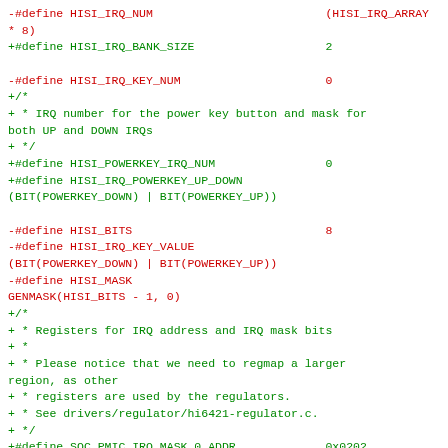-#define HISI_IRQ_NUM                         (HISI_IRQ_ARRAY * 8)
+#define HISI_IRQ_BANK_SIZE                    2

-#define HISI_IRQ_KEY_NUM                      0
+/*
+ * IRQ number for the power key button and mask for both UP and DOWN IRQs
+ */
+#define HISI_POWERKEY_IRQ_NUM                 0
+#define HISI_IRQ_POWERKEY_UP_DOWN             (BIT(POWERKEY_DOWN) | BIT(POWERKEY_UP))

-#define HISI_BITS                             8
-#define HISI_IRQ_KEY_VALUE                    (BIT(POWERKEY_DOWN) | BIT(POWERKEY_UP))
-#define HISI_MASK                             GENMASK(HISI_BITS - 1, 0)
+/*
+ * Registers for IRQ address and IRQ mask bits
+ *
+ * Please notice that we need to regmap a larger region, as other
+ * registers are used by the regulators.
+ * See drivers/regulator/hi6421-regulator.c.
+ */
+#define SOC_PMIC_IRQ_MASK_0_ADDR              0x0202
+#define SOC_PMIC_IRQ0_ADDR                    0x0212

/*